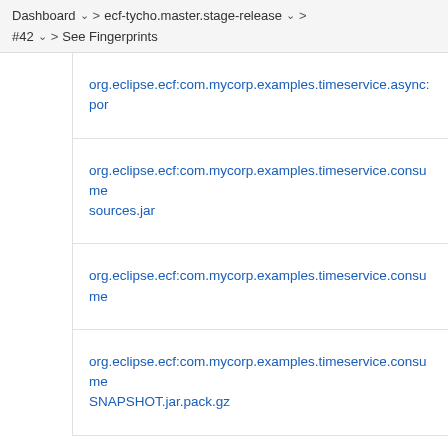Dashboard > ecf-tycho.master.stage-release > #42 > See Fingerprints
org.eclipse.ecf:com.mycorp.examples.timeservice.async:por
org.eclipse.ecf:com.mycorp.examples.timeservice.consume sources.jar
org.eclipse.ecf:com.mycorp.examples.timeservice.consume
org.eclipse.ecf:com.mycorp.examples.timeservice.consume SNAPSHOT.jar.pack.gz